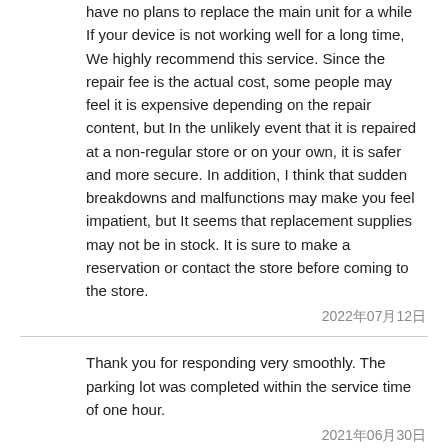have no plans to replace the main unit for a while If your device is not working well for a long time, We highly recommend this service. Since the repair fee is the actual cost, some people may feel it is expensive depending on the repair content, but In the unlikely event that it is repaired at a non-regular store or on your own, it is safer and more secure. In addition, I think that sudden breakdowns and malfunctions may make you feel impatient, but It seems that replacement supplies may not be in stock. It is sure to make a reservation or contact the store before coming to the store.
2022年07月12日
Thank you for responding very smoothly. The parking lot was completed within the service time of one hour.
2021年06月30日
I made a reservation to replace the battery of the iPhone, but it was said that it was out of stock after all. If so, why did you accept the reservation, and if you bother to go, do you expect that you will go on the day? It seems that he lacks that imagination. It was very unpleasant for the clerk to squeeze the screen of the smartphone with his dirty nails. Even though I knew from my head